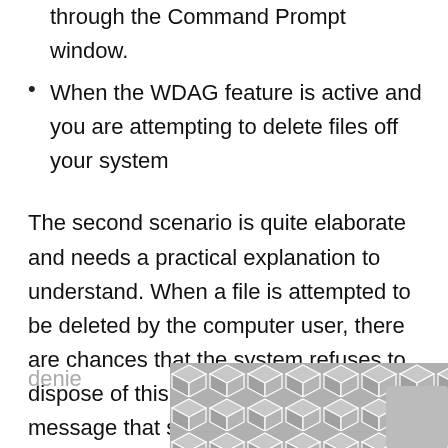When a net user command is executed through the Command Prompt window.
When the WDAG feature is active and you are attempting to delete files off your system
The second scenario is quite elaborate and needs a practical explanation to understand. When a file is attempted to be deleted by the computer user, there are chances that the system refuses to dispose of this file. The user will see a message that states that access is denied